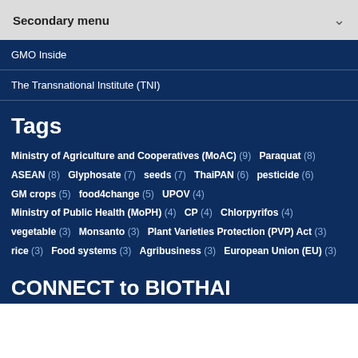Secondary menu
GMO Inside
The Transnational Institute (TNI)
Tags
Ministry of Agriculture and Cooperatives (MoAC) (9)  Paraquat (8)  ASEAN (8)  Glyphosate (7)  seeds (7)  ThaiPAN (6)  pesticide (6)  GM crops (5)  food4change (5)  UPOV (4)  Ministry of Public Health (MoPH) (4)  CP (4)  Chlorpyrifos (4)  vegetable (3)  Monsanto (3)  Plant Varieties Protection (PVP) Act (3)  rice (3)  Food systems (3)  Agribusiness (3)  European Union (EU) (3)
CONNECT to BIOTHAI